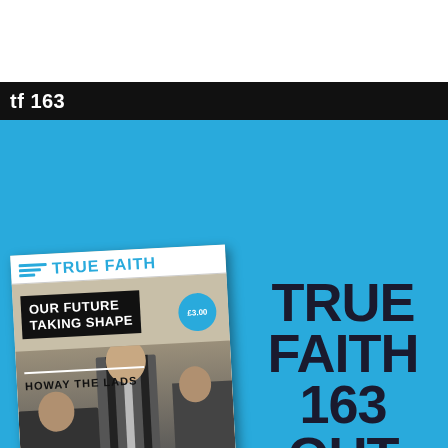tf 163
[Figure (illustration): Advertisement for True Faith fanzine issue 163. Blue background with a magazine cover mockup on the left showing 'TRUE FAITH' logo, headline 'OUR FUTURE TAKING SHAPE', subheading 'HOWAY THE LADS', price badge £3.00, and black-and-white photo of Newcastle United footballers. Large bold dark text on the right reads 'TRUE FAITH 163 OUT NOW'.]